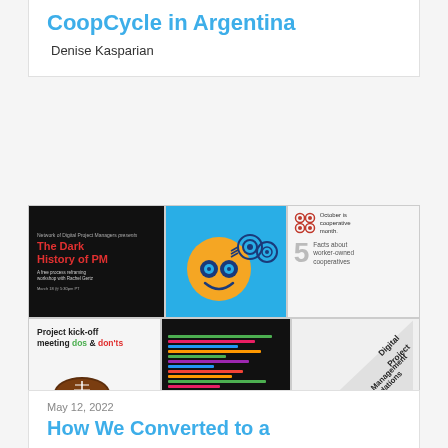CoopCycle in Argentina
Denise Kasparian
[Figure (photo): A 2x3 grid of social media / promotional images including: a dark workshop promo for 'The Dark History of PM', a blue graphic with a smiley-face sun illustration, a cooperative month infographic, a project kick-off meeting 'dos and don'ts' with a football image, 'The Digital PM Operations Apprenticeship' dark graphic, and a 'Digital Project Management Foundations' striped graphic.]
May 12, 2022
How We Converted to a